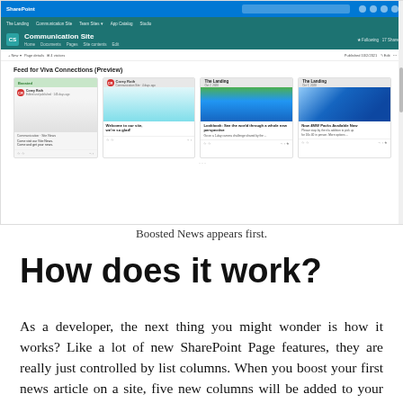[Figure (screenshot): Screenshot of a SharePoint Communication Site showing the 'Feed for Viva Connections (Preview)' with boosted news cards including Corey Roth's post, Welcome to our site, Lookbook: Meet the world through a whole new perspective, and How 4MW Packs Available Now. The interface shows the SharePoint top navigation bar, site branding bar in teal, and a scrollable news feed.]
Boosted News appears first.
How does it work?
As a developer, the next thing you might wonder is how it works? Like a lot of new SharePoint Page features, they are really just controlled by list columns. When you boost your first news article on a site, five new columns will be added to your Site Pages library.